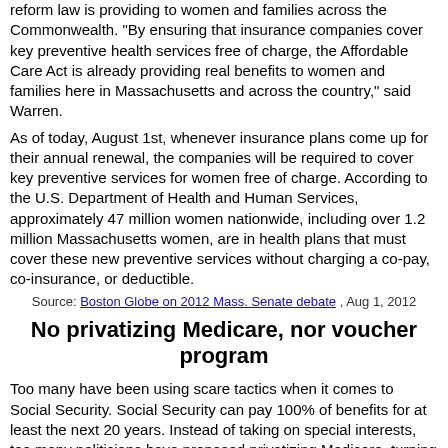reform law is providing to women and families across the Commonwealth. "By ensuring that insurance companies cover key preventive health services free of charge, the Affordable Care Act is already providing real benefits to women and families here in Massachusetts and across the country," said Warren.
As of today, August 1st, whenever insurance plans come up for their annual renewal, the companies will be required to cover key preventive services for women free of charge. According to the U.S. Department of Health and Human Services, approximately 47 million women nationwide, including over 1.2 million Massachusetts women, are in health plans that must cover these new preventive services without charging a co-pay, co-insurance, or deductible.
Source: Boston Globe on 2012 Mass. Senate debate , Aug 1, 2012
No privatizing Medicare, nor voucher program
Too many have been using scare tactics when it comes to Social Security. Social Security can pay 100% of benefits for at least the next 20 years. Instead of taking on special interests, too many politicians have proposed privatizing Medicare, turning it into a voucher program, or cutting it altogether. I will not support privatizing Medicare, turning it into a voucher program, or cutting benefits.
Source: Boston Globe questionnaire on 2012 Mass. Senate debate , Jul 11, 2012
Medical problems cause 750,000 bankruptcies each year